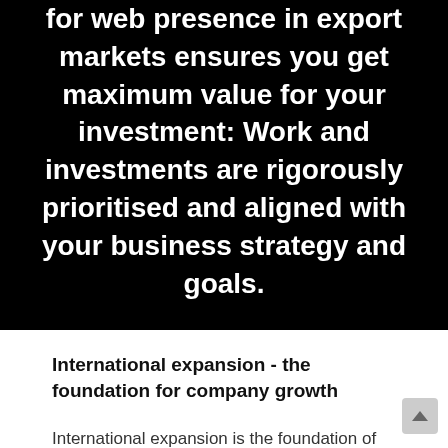for web presence in export markets ensures you get maximum value for your investment: Work and investments are rigorously prioritised and aligned with your business strategy and goals.
International expansion - the foundation for company growth
International expansion is the foundation of organic company growth. Due to the relatively